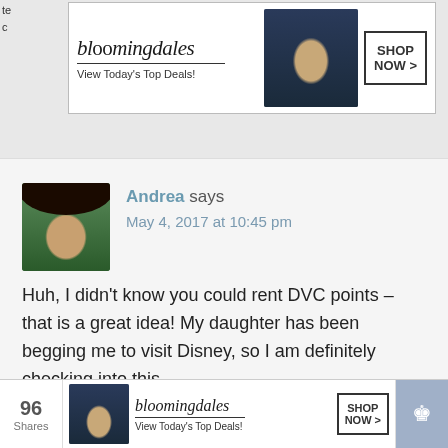[Figure (screenshot): Bloomingdale's advertisement banner at top of page showing logo, 'View Today's Top Deals!' tagline, model in hat, and SHOP NOW button]
[Figure (photo): User avatar photo of woman with dark hair against green background]
Andrea says
May 4, 2017 at 10:45 pm
Huh, I didn't know you could rent DVC points – that is a great idea! My daughter has been begging me to visit Disney, so I am definitely checking into this.
[Figure (screenshot): Bloomingdale's advertisement banner at bottom of page showing logo, 'View Today's Top Deals!' tagline, model in hat, and SHOP NOW button]
96 Shares